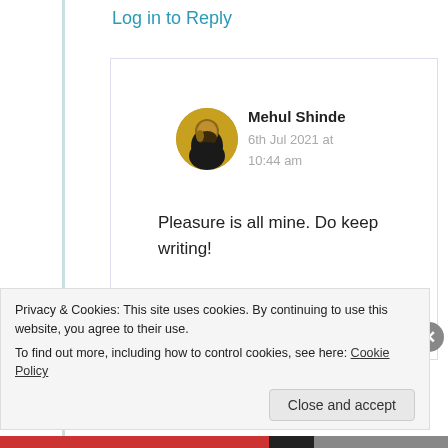Log in to Reply
[Figure (photo): Circular avatar photo of Mehul Shinde, a man with beard]
Mehul Shinde
6th Jul 2021 at 10:44 am
Pleasure is all mine. Do keep writing!
★ Liked by 1 person
Privacy & Cookies: This site uses cookies. By continuing to use this website, you agree to their use.
To find out more, including how to control cookies, see here: Cookie Policy
Close and accept